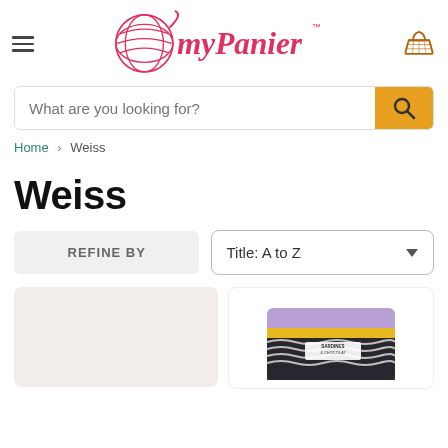[Figure (logo): myPanier logo with yarn ball icon in red/pink and basket icon in orange-brown]
What are you looking for?
Home > Weiss
Weiss
REFINE BY
Title: A to Z
[Figure (photo): Product card - left, light beige background, empty]
[Figure (photo): Product card - right, showing a purple/lavender package with black and white wave pattern, labeled SARDINES & CHOCOLAT]